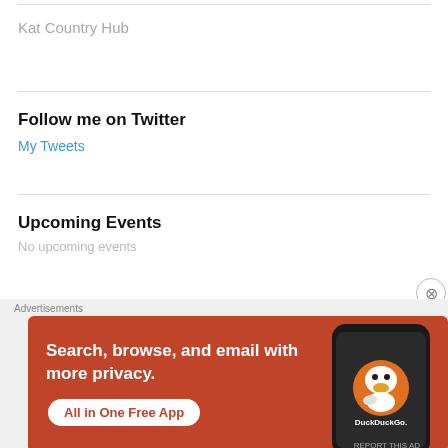Kat Country Hub
Follow me on Twitter
My Tweets
Upcoming Events
No upcoming events
[Figure (other): DuckDuckGo advertisement banner: 'Search, browse, and email with more privacy. All in One Free App' with DuckDuckGo logo and phone image on orange/red background]
Advertisements